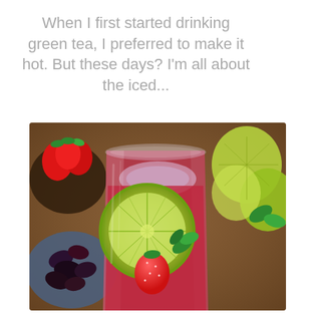When I first started drinking green tea, I preferred to make it hot. But these days? I'm all about the iced...
[Figure (photo): A glass of red iced tea with a lime slice, strawberries, and mint leaves, with bowls of strawberries and dried hibiscus flowers in the background and lime wedges to the right.]